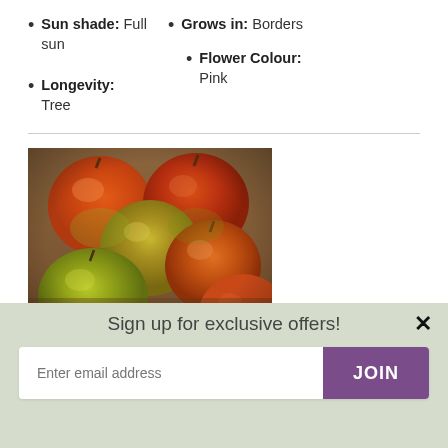Sun shade: Full sun
Grows in: Borders
Flower Colour: Pink
Longevity: Tree
[Figure (photo): A cluster of red and green apples piled in a basket on a wooden surface]
Sign up for exclusive offers!
Enter email address
JOIN